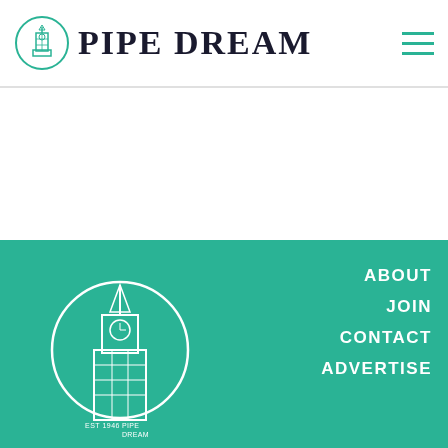PIPE DREAM
[Figure (logo): Pipe Dream newspaper logo with circular clock tower emblem and bold serif text 'PIPE DREAM']
[Figure (logo): Pipe Dream footer logo: white outlined clock tower illustration inside a circle with 'EST 1946' and 'PIPE DREAM' text]
ABOUT JOIN CONTACT ADVERTISE